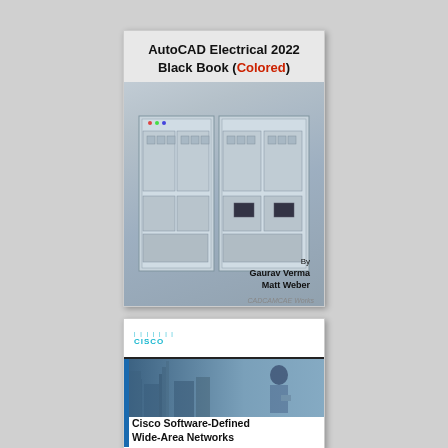[Figure (illustration): Book cover: AutoCAD Electrical 2022 Black Book (Colored) by Gaurav Verma and Matt Weber. Cover shows industrial electrical cabinets/switchgear panels on a grey-blue background.]
[Figure (illustration): Book cover: Cisco Software-Defined Wide-Area Networks. Designing, Deploying and Securing Your Next Generation WAN with Cisco SD-WAN. Shows Cisco logo at top, photo of city skyline with person holding tablet, and blue left sidebar.]